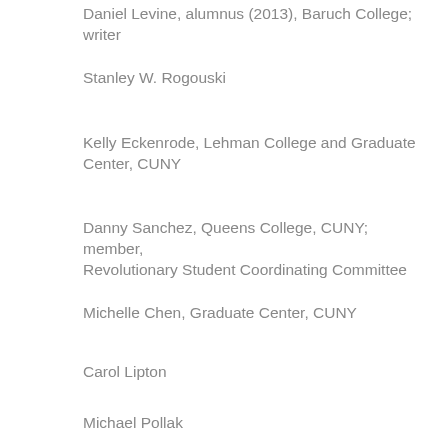Daniel Levine, alumnus (2013), Baruch College; writer
Stanley W. Rogouski
Kelly Eckenrode, Lehman College and Graduate Center, CUNY
Danny Sanchez, Queens College, CUNY; member, Revolutionary Student Coordinating Committee
Michelle Chen, Graduate Center, CUNY
Carol Lipton
Michael Pollak
Aaron Botwick, Graduate Center, CUNY
Naja Berg Hougaard, Graduate Center, CUNY
Gerhard Joseph, Lehman College, CUNY
Catherine Liu, alumna, Graduate Center, CUNY;